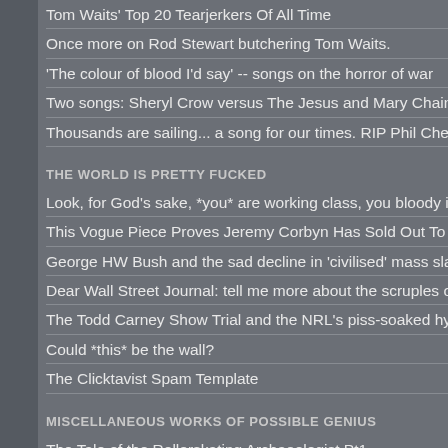Tom Waits' Top 20 Tearjerkers Of All Time
Once more on Rod Stewart butchering Tom Waits.
'The colour of blood I'd say' -- songs on the horror of war
Two songs: Sheryl Crow versus The Jesus and Mary Chain --
Thousands are sailing... a song for our times. RIP Phil Chevr
THE WORLD IS PRETTY FUCKED
Look, for God's sake, *you* are working class, you bloody idi
This Vogue Piece Proves Jeremy Corbyn Has Sold Out To Bo
George HW Bush and the sad decline in 'civilised' mass slau
Dear Wall Street Journal: tell me more about the scruples of U
The Todd Carney Show Trial and the NRL's piss-soaked hypo
Could *this* be the wall?
The Clicktavist Spam Template
MISCELLANEOUS WORKS OF POSSIBLE GENIUS
The Tale of the Rollerskating Archaeologist Pt1